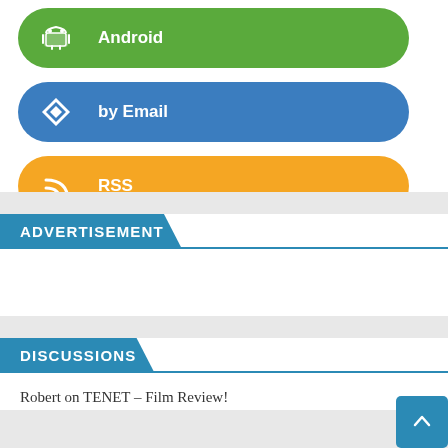Android
by Email
RSS
ADVERTISEMENT
DISCUSSIONS
Robert on TENET – Film Review!